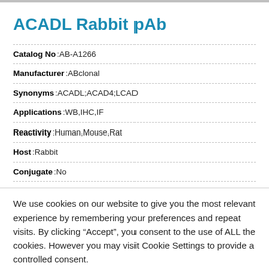ACADL Rabbit pAb
| Catalog No | AB-A1266 |
| Manufacturer | ABclonal |
| Synonyms | ACADL;ACAD4;LCAD |
| Applications | WB,IHC,IF |
| Reactivity | Human,Mouse,Rat |
| Host | Rabbit |
| Conjugate | No |
We use cookies on our website to give you the most relevant experience by remembering your preferences and repeat visits. By clicking “Accept”, you consent to the use of ALL the cookies. However you may visit Cookie Settings to provide a controlled consent.
Cookie settings   ACCEPT